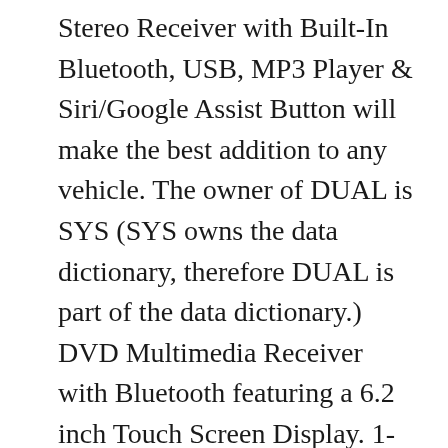Stereo Receiver with Built-In Bluetooth, USB, MP3 Player & Siri/Google Assist Button will make the best addition to any vehicle. The owner of DUAL is SYS (SYS owns the data dictionary, therefore DUAL is part of the data dictionary.) DVD Multimedia Receiver with Bluetooth featuring a 6.2 inch Touch Screen Display. 1-866-382-5476. 0 GET A QUOTE MY LOAN(S) Shopping Cart. Car Receivers ... XGPS190 - GPS + ADS-B Weather & Traffic receiver with dual band 978/1090 MHz frequencies, and AHRS artificial horizon for EFB apps with synthetic vision. Covid 19 Updates; Blog; Track your order; Welcome to Pawn America Online Shopping Store ! aviation, GPS, ADS-B, AHRS. So you should have a bt